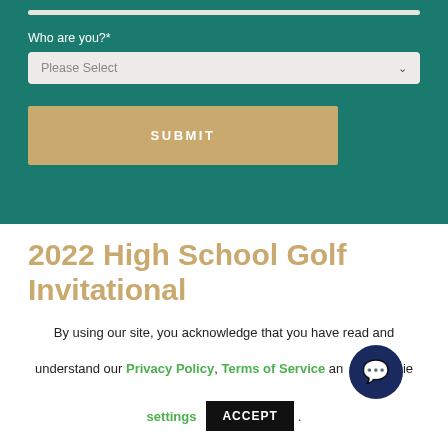Who are you?*
Please Select
SUBMIT
2022 High School Golf Invitational
By using our site, you acknowledge that you have read and understand our Privacy Policy, Terms of Service and cookie settings.
ACCEPT